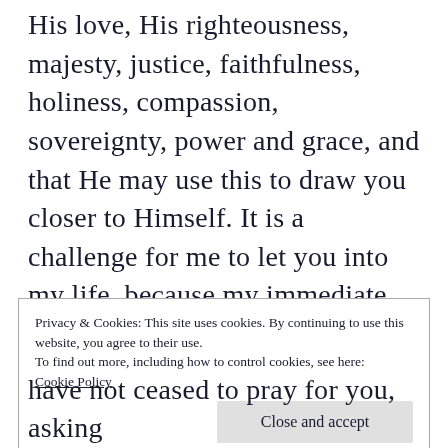His love, His righteousness, majesty, justice, faithfulness, holiness, compassion, sovereignty, power and grace, and that He may use this to draw you closer to Himself. It is a challenge for me to let you into my life, because my immediate tendencies are to use this opportunity to exalt myself – along with Christ. But that is not an option. The Christian calling is one of self-humiliation and Christ exaltation. To Him alone be all the glory!
Privacy & Cookies: This site uses cookies. By continuing to use this website, you agree to their use.
To find out more, including how to control cookies, see here: Cookie Policy
Close and accept
have not ceased to pray for you, asking